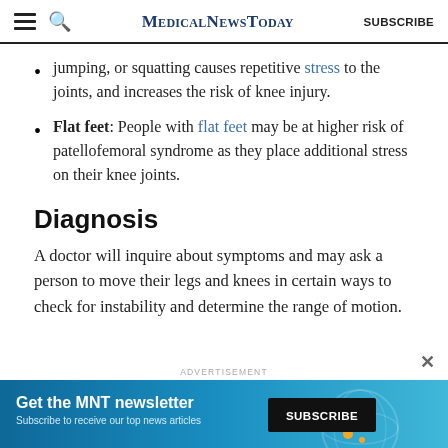MedicalNewsToday SUBSCRIBE
jumping, or squatting causes repetitive stress to the joints, and increases the risk of knee injury.
Flat feet: People with flat feet may be at higher risk of patellofemoral syndrome as they place additional stress on their knee joints.
Diagnosis
A doctor will inquire about symptoms and may ask a person to move their legs and knees in certain ways to check for instability and determine the range of motion.
[Figure (infographic): ADVERTISEMENT banner for MNT newsletter with Subscribe button]